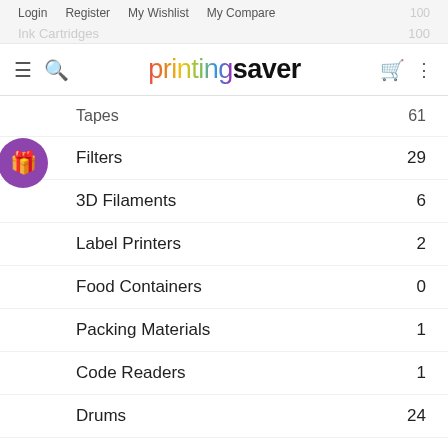Login  Register  My Wishlist  My Compare
[Figure (logo): printingsaver logo with multicolor 'printing' and bold black 'saver' text]
Tapes  61
Filters  29
3D Filaments  6
Label Printers  2
Food Containers  0
Packing Materials  1
Code Readers  1
Drums  24
Printers  3
English (language selector dropdown)